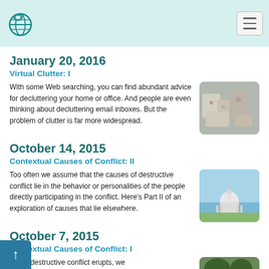Navigation header with logo and hamburger menu
January 20, 2016
Virtual Clutter: I
With some Web searching, you can find abundant advice for decluttering your home or office. And people are even thinking about decluttering email inboxes. But the problem of clutter is far more widespread.
[Figure (photo): Photo of cluttered items, bags and objects piled together]
October 14, 2015
Contextual Causes of Conflict: II
Too often we assume that the causes of destructive conflict lie in the behavior or personalities of the people directly participating in the conflict. Here's Part II of an exploration of causes that lie elsewhere.
[Figure (photo): Photo of the US Capitol building on a sunny day]
October 7, 2015
Contextual Causes of Conflict: I
When destructive conflict erupts, we...
[Figure (photo): Partially visible photo at bottom of page]